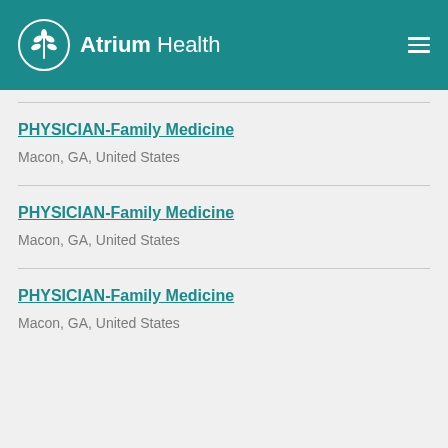Atrium Health
PHYSICIAN-Family Medicine
Macon, GA, United States
PHYSICIAN-Family Medicine
Macon, GA, United States
PHYSICIAN-Family Medicine
Macon, GA, United States